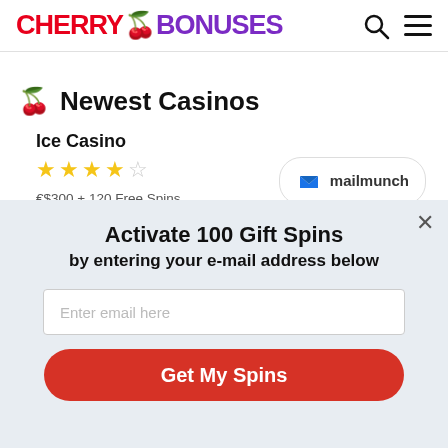CHERRY BONUSES
Newest Casinos
Ice Casino
★★★★☆
€$300 + 120 Free Spins
Min. Deposit: 10 EUR
[Figure (logo): Mailmunch logo badge with M icon and text 'mailmunch']
Activate 100 Gift Spins by entering your e-mail address below
Enter email here
Get My Spins